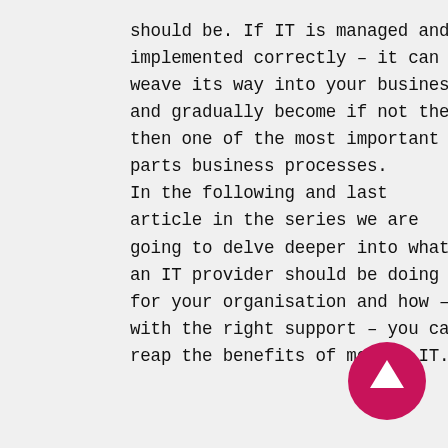should be. If IT is managed and implemented correctly – it can weave its way into your business and gradually become if not the, then one of the most important parts business processes.

In the following and last article in the series we are going to delve deeper into what an IT provider should be doing for your organisation and how – with the right support – you can reap the benefits of modern IT.
[Figure (illustration): Magenta/pink circular button with a white upward-pointing arrow in the center, positioned at the bottom-right of the page.]